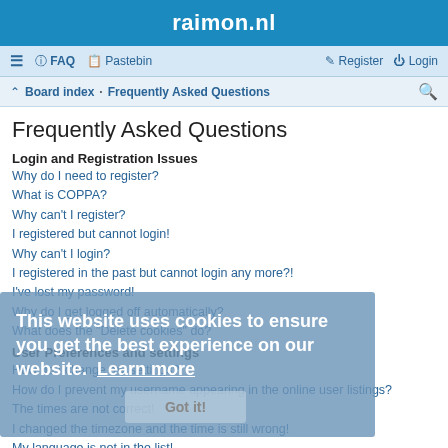raimon.nl
≡  FAQ  Pastebin  Register  Login
Board index › Frequently Asked Questions
Frequently Asked Questions
Login and Registration Issues
Why do I need to register?
What is COPPA?
Why can't I register?
I registered but cannot login!
Why can't I login?
I registered in the past but cannot login any more?!
I've lost my password!
Why do I get logged off automatically?
What does the "Delete cookies" do?
User Preferences and settings
How do I change my settings?
How do I prevent my username appearing in the online user listings?
The times are not correct!
I changed the timezone and the time is still wrong!
My language is not in the list!
What are the images next to my username?
[Figure (screenshot): Cookie consent overlay: 'This website uses cookies to ensure you get the best experience on our website. Learn more' with a 'Got it!' button]